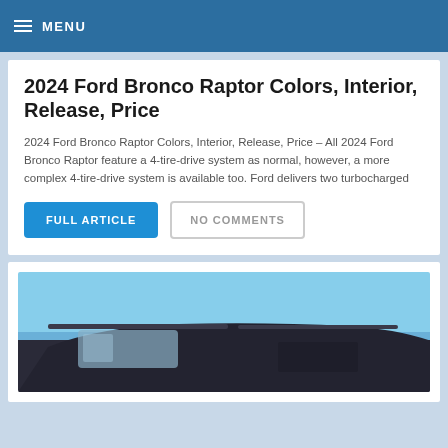MENU
2024 Ford Bronco Raptor Colors, Interior, Release, Price
2024 Ford Bronco Raptor Colors, Interior, Release, Price – All 2024 Ford Bronco Raptor feature a 4-tire-drive system as normal, however, a more complex 4-tire-drive system is available too. Ford delivers two turbocharged
FULL ARTICLE
NO COMMENTS
[Figure (photo): Partial view of a Ford Bronco Raptor SUV photographed from the rear, showing the roofline and rear window against a blue sky background.]